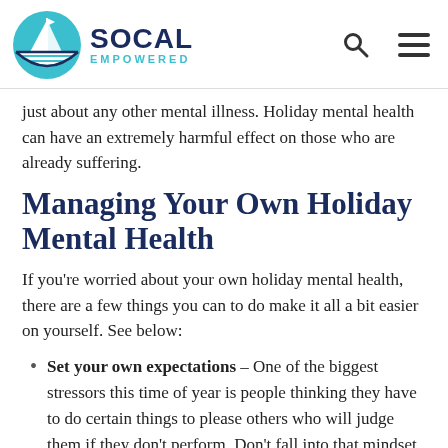SOCAL EMPOWERED
just about any other mental illness. Holiday mental health can have an extremely harmful effect on those who are already suffering.
Managing Your Own Holiday Mental Health
If you're worried about your own holiday mental health, there are a few things you can to do make it all a bit easier on yourself. See below:
Set your own expectations – One of the biggest stressors this time of year is people thinking they have to do certain things to please others who will judge them if they don't perform. Don't fall into that mindset, as it's not